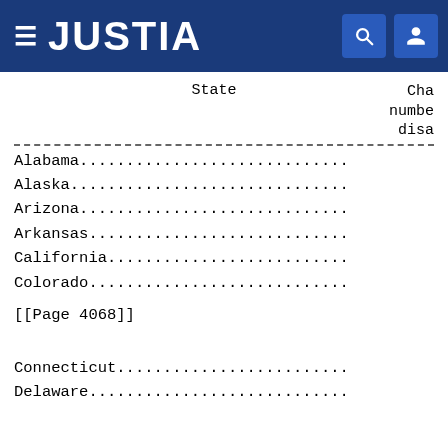JUSTIA
| State | Cha… number dis… |
| --- | --- |
| Alabama.......................... |
| Alaska........................... |
| Arizona.......................... |
| Arkansas......................... |
| California....................... |
| Colorado......................... |
| [[Page 4068]] |
| Connecticut...................... |
| Delaware......................... |